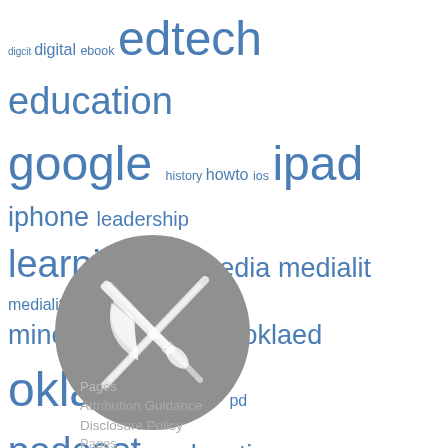[Figure (infographic): Tag cloud with education-related keywords in varying sizes and shades of blue. Tags include: digcit, digital, ebook, edtech, education, google, history, howto, ios, ipad, iphone, leadership, learning, literacy, media, medialit, medialiteracy, minecraft, minecraftedu, mobile, oklaed, oklahoma, pd, podcast, podcasting, politics, school, scratch, share, sharing, stem, technology, tutorial, video, wordpress, workshop, youtube]
[Figure (logo): Gray circular logo with a paintbrush and lightning bolt icon crossed, on white background]
Pages
Attribution Guidance
Disclosure Policy